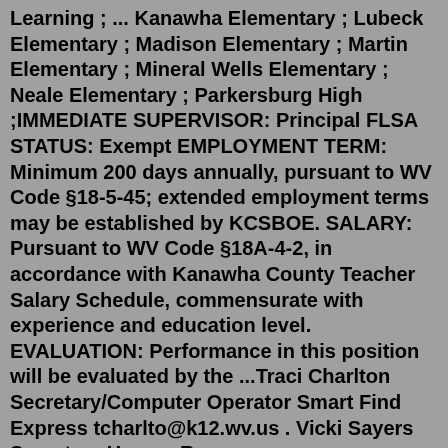Learning ; ... Kanawha Elementary ; Lubeck Elementary ; Madison Elementary ; Martin Elementary ; Mineral Wells Elementary ; Neale Elementary ; Parkersburg High ;IMMEDIATE SUPERVISOR: Principal FLSA STATUS: Exempt EMPLOYMENT TERM: Minimum 200 days annually, pursuant to WV Code §18-5-45; extended employment terms may be established by KCSBOE. SALARY: Pursuant to WV Code §18A-4-2, in accordance with Kanawha County Teacher Salary Schedule, commensurate with experience and education level. EVALUATION: Performance in this position will be evaluated by the ...Traci Charlton Secretary/Computer Operator Smart Find Express tcharlto@k12.wv.us . Vicki Sayers Secretary Human Resources vsayers@k12.wv.us . Forms ProcessingKanawha County Schools pays an average salary of $403,361 and salaries range from a low of $356,277 to a high of $458,054. Individual salaries will, of course, vary depending on the job, department, location, as well as the individual skills...